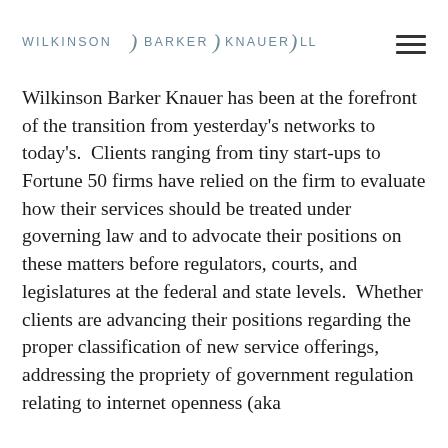[Figure (logo): Wilkinson Barker Knauer LLP law firm logo with stylized bracket separators between name segments]
Wilkinson Barker Knauer has been at the forefront of the transition from yesterday’s networks to today’s.  Clients ranging from tiny start-ups to Fortune 50 firms have relied on the firm to evaluate how their services should be treated under governing law and to advocate their positions on these matters before regulators, courts, and legislatures at the federal and state levels.  Whether clients are advancing their positions regarding the proper classification of new service offerings, addressing the propriety of government regulation relating to internet openness (aka